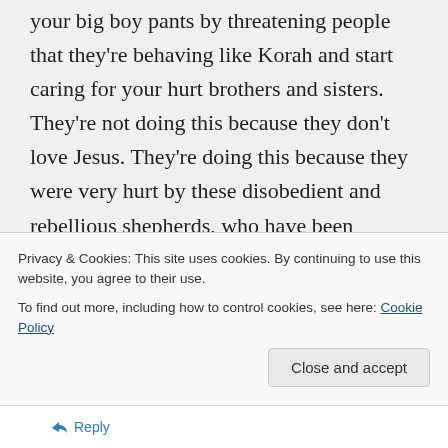your big boy pants by threatening people that they're behaving like Korah and start caring for your hurt brothers and sisters. They're not doing this because they don't love Jesus. They're doing this because they were very hurt by these disobedient and rebellious shepherds, who have been rebuked, warned, pleaded with, entreated, etc., and who in no way have taken responsibility for their actions and repented in real sorrow and humility. The Bible is
Privacy & Cookies: This site uses cookies. By continuing to use this website, you agree to their use.
To find out more, including how to control cookies, see here: Cookie Policy
Reply